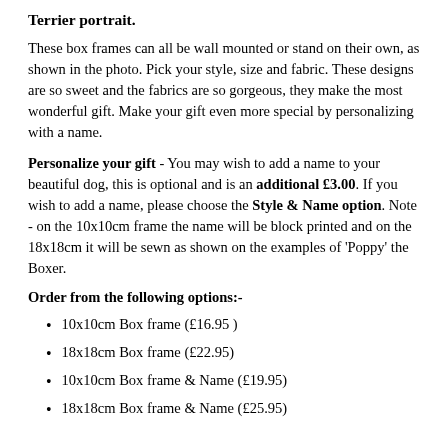Terrier portrait.
These box frames can all be wall mounted or stand on their own, as shown in the photo. Pick your style, size and fabric. These designs are so sweet and the fabrics are so gorgeous, they make the most wonderful gift. Make your gift even more special by personalizing with a name.
Personalize your gift - You may wish to add a name to your beautiful dog, this is optional and is an additional £3.00. If you wish to add a name, please choose the Style & Name option. Note - on the 10x10cm frame the name will be block printed and on the 18x18cm it will be sewn as shown on the examples of 'Poppy' the Boxer.
Order from the following options:-
10x10cm Box frame (£16.95 )
18x18cm Box frame (£22.95)
10x10cm Box frame & Name (£19.95)
18x18cm Box frame & Name (£25.95)